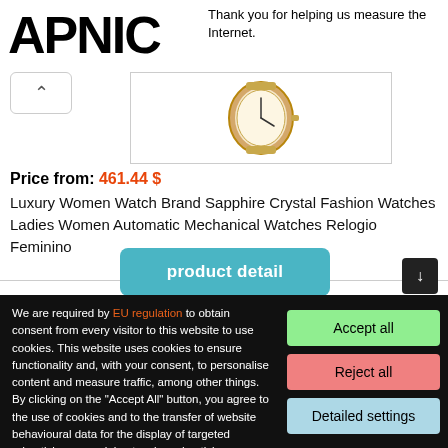APNIC
Thank you for helping us measure the Internet.
[Figure (photo): Rose gold luxury women's wristwatch]
Price from: 461.44 $
Luxury Women Watch Brand Sapphire Crystal Fashion Watches Ladies Women Automatic Mechanical Watches Relogio Feminino
product detail
We are required by EU regulation to obtain consent from every visitor to this website to use cookies. This website uses cookies to ensure functionality and, with your consent, to personalise content and measure traffic, among other things. By clicking on the "Accept All" button, you agree to the use of cookies and to the transfer of website behavioural data for the display of targeted advertising on social networks, advertising networks on other sites.
Accept all
Reject all
Detailed settings